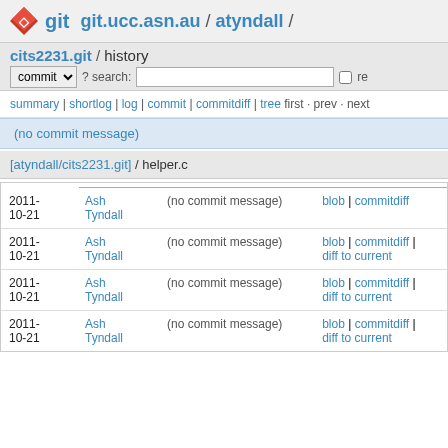git  git.ucc.asn.au / atyndall /
cits2231.git / history
commit ? search:  re
summary | shortlog | log | commit | commitdiff | tree first · prev · next
(no commit message)
[atyndall/cits2231.git] / helper.c
| date | author | message | links |
| --- | --- | --- | --- |
| 2011-10-21 | Ash Tyndall | (no commit message) | blob | commitdiff |
| 2011-10-21 | Ash Tyndall | (no commit message) | blob | commitdiff | diff to current |
| 2011-10-21 | Ash Tyndall | (no commit message) | blob | commitdiff | diff to current |
| 2011-10-21 | Ash Tyndall | (no commit message) | blob | commitdiff | diff to current |